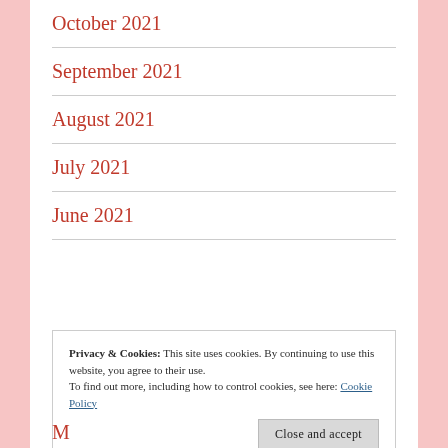October 2021
September 2021
August 2021
July 2021
June 2021
Privacy & Cookies: This site uses cookies. By continuing to use this website, you agree to their use.
To find out more, including how to control cookies, see here: Cookie Policy
May…